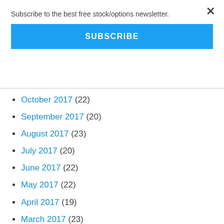Subscribe to the best free stock/options newsletter.
SUBSCRIBE
October 2017 (22)
September 2017 (20)
August 2017 (23)
July 2017 (20)
June 2017 (22)
May 2017 (22)
April 2017 (19)
March 2017 (23)
February 2017 (19)
January 2017 (20)
December 2016 (21)